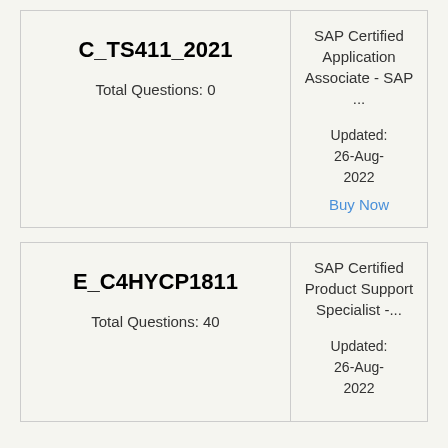| Code / Questions | Details |
| --- | --- |
| C_TS411_2021
Total Questions: 0 | SAP Certified Application Associate - SAP ...
Updated: 26-Aug-2022
Buy Now |
| E_C4HYCP1811
Total Questions: 40 | SAP Certified Product Support Specialist -...
Updated: 26-Aug-2022 |